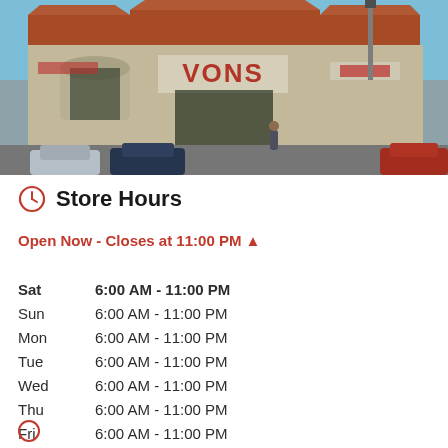[Figure (photo): Exterior photo of a Vons grocery store with red tile roof, parking lot with multiple cars in front, clear blue sky]
Store Hours
Open Now - Closes at 11:00 PM ▲
| Day | Hours |
| --- | --- |
| Sat | 6:00 AM - 11:00 PM |
| Sun | 6:00 AM - 11:00 PM |
| Mon | 6:00 AM - 11:00 PM |
| Tue | 6:00 AM - 11:00 PM |
| Wed | 6:00 AM - 11:00 PM |
| Thu | 6:00 AM - 11:00 PM |
| Fri | 6:00 AM - 11:00 PM |